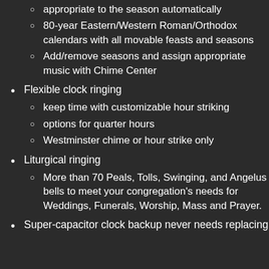appropriate to the season automatically
80-year Eastern/Western Roman/Orthodox calendars with all movable feasts and seasons
Add/remove seasons and assign appropriate music with Chime Center
Flexible clock ringing
keep time with customizable hour striking
options for quarter hours
Westminster chime or hour strike only
Liturgical ringing
More than 70 Peals, Tolls, Swinging, and Angelus bells to meet your congregation's needs for Weddings, Funerals, Worship, Mass and Prayer.
Super-capacitor clock backup never needs replacing